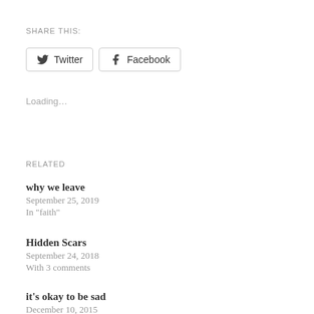SHARE THIS:
Twitter  Facebook
Loading...
RELATED
why we leave
September 25, 2019
In "faith"
Hidden Scars
September 24, 2018
With 3 comments
it's okay to be sad
December 10, 2015